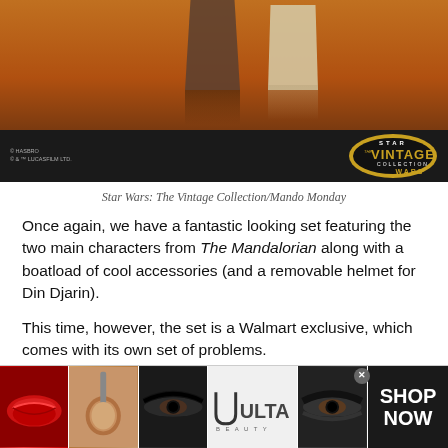[Figure (photo): Top banner showing feet/legs of Star Wars figures on an orange-brown reflective surface]
[Figure (logo): Star Wars The Vintage Collection logo on dark stripe with copyright text: © HASBRO, © & ™ LUCASFILM LTD.]
Star Wars: The Vintage Collection/Mando Monday
Once again, we have a fantastic looking set featuring the two main characters from The Mandalorian along with a boatload of cool accessories (and a removable helmet for Din Djarin).
This time, however, the set is a Walmart exclusive, which comes with its own set of problems.
This past weekend, Din Djarin & The Child went up on
[Figure (photo): Ulta Beauty advertisement banner showing makeup-related photos (lips, brush, eyes) with SHOP NOW text]